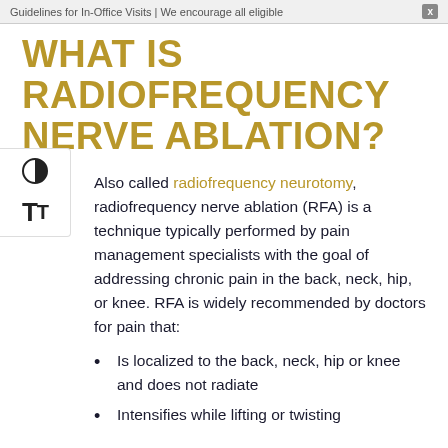Guidelines for In-Office Visits | We encourage all eligible
WHAT IS RADIOFREQUENCY NERVE ABLATION?
Also called radiofrequency neurotomy, radiofrequency nerve ablation (RFA) is a technique typically performed by pain management specialists with the goal of addressing chronic pain in the back, neck, hip, or knee. RFA is widely recommended by doctors for pain that:
Is localized to the back, neck, hip or knee and does not radiate
Intensifies while lifting or twisting